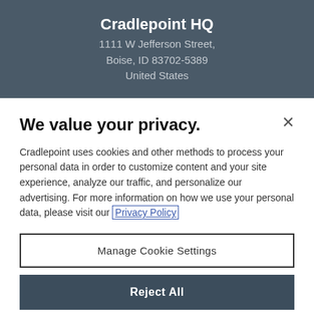Cradlepoint HQ
1111 W Jefferson Street,
Boise, ID 83702-5389
United States
We value your privacy.
Cradlepoint uses cookies and other methods to process your personal data in order to customize content and your site experience, analyze our traffic, and personalize our advertising. For more information on how we use your personal data, please visit our Privacy Policy
Manage Cookie Settings
Reject All
Accept All Cookies